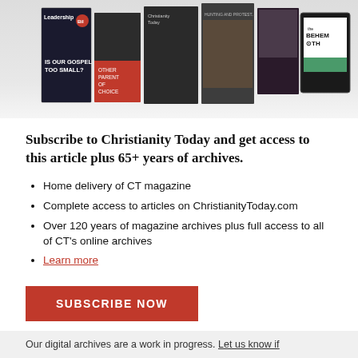[Figure (photo): Row of Christianity Today and related magazine covers displayed as a promotional banner]
Subscribe to Christianity Today and get access to this article plus 65+ years of archives.
Home delivery of CT magazine
Complete access to articles on ChristianityToday.com
Over 120 years of magazine archives plus full access to all of CT's online archives
Learn more
SUBSCRIBE NOW
Already a subscriber? Log in
Our digital archives are a work in progress. Let us know if